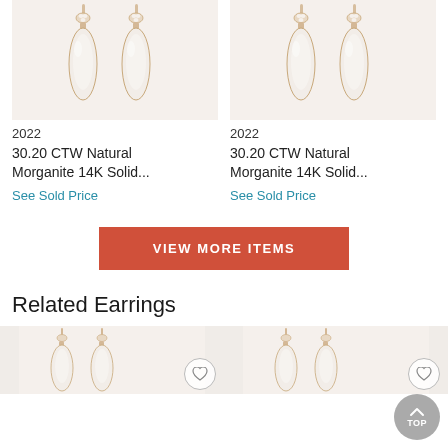[Figure (photo): Two gold morganite drop earrings with crystal stones, left product listing image]
2022
30.20 CTW Natural Morganite 14K Solid...
See Sold Price
[Figure (photo): Two gold morganite drop earrings with crystal stones, right product listing image]
2022
30.20 CTW Natural Morganite 14K Solid...
See Sold Price
VIEW MORE ITEMS
Related Earrings
[Figure (photo): Related earrings product image, left]
[Figure (photo): Related earrings product image, right]